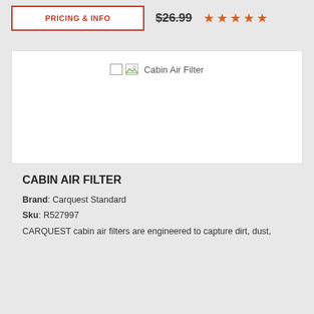PRICING & INFO | $26.99 ★★★★★
[Figure (photo): Cabin Air Filter product image placeholder]
CABIN AIR FILTER
Brand: Carquest Standard
Sku: R527997
CARQUEST cabin air filters are engineered to capture dirt, dust,